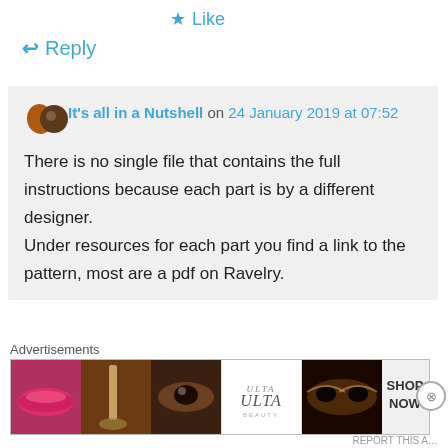★ Like
↩ Reply
It's all in a Nutshell on 24 January 2019 at 07:52
There is no single file that contains the full instructions because each part is by a different designer. Under resources for each part you find a link to the pattern, most are a pdf on Ravelry.
Advertisements
[Figure (photo): Advertisement banner showing makeup/beauty products with ULTA logo and SHOP NOW text]